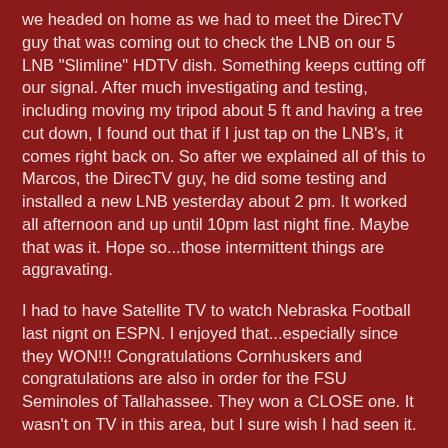we headed on home as we had to meet the DirecTV guy that was coming out to check the LNB on our 5 LNB "Slimline" HDTV dish.  Something keeps cutting off our signal. After much investigating and testing, including moving my tripod about 5 ft and having a tree cut down, I found out that if I just tap on the LNB's, it comes right back on.  So after we explained all of this to Marcos, the DirecTV guy, he did some testing and installed a new LNB yesterday about 2 pm.  It worked all afternoon and up until 10pm last night fine. Maybe that was it.  Hope so...those intermittent things are aggravating.
I had to have Satellite TV to watch Nebraska Football last nignt on ESPN.  I enjoyed that...especially since they WON!!!   Congratulations Cornhuskers and congratulations are also in order for the FSU Seminoles of Tallahassee. They won a CLOSE one. It wasn't on TV in this area, but I sure wish I had seen it.
It was a GREAT WEEK!!
Thanks for stopping by and thank you GOD for allowing us to